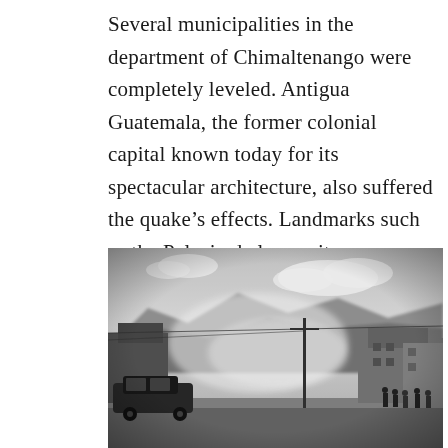Several municipalities in the department of Chimaltenango were completely leveled. Antigua Guatemala, the former colonial capital known today for its spectacular architecture, also suffered the quake's effects. Landmarks such as the Palacio de los capitanes generales – the seat of Spanish government for nearly two centuries – were heavily damaged.
[Figure (photo): Black and white photograph showing a street scene with dust or smoke, a dark car on the left, buildings in the background, mountains in the distance, and people visible on the right side.]